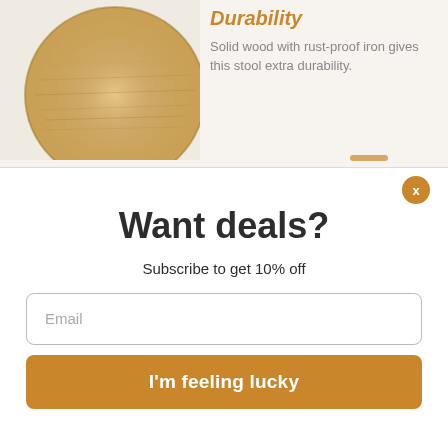[Figure (photo): Close-up overhead photo of a round wooden stool top with metal legs visible at the edges, on a light beige background.]
Durability
Solid wood with rust-proof iron gives this stool extra durability.
x
Want deals?
Subscribe to get 10% off
Email
I'm feeling lucky